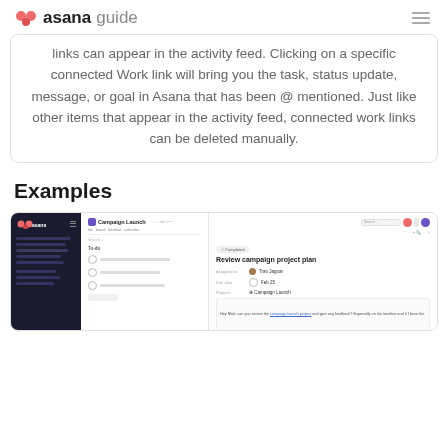asana guide
links can appear in the activity feed. Clicking on a specific connected Work link will bring you the task, status update, message, or goal in Asana that has been @ mentioned. Just like other items that appear in the activity feed, connected work links can be deleted manually.
Examples
[Figure (screenshot): Screenshot of Asana application showing Campaign Launch project with a task detail panel for 'Review campaign project plan' open on the right side. The left side shows a to-do list with tasks. The right panel shows assignee 'Tran Jaguar', due date 'Feb 25', project 'Campaign Launch', and a comment with a link to the campaign launch project.]